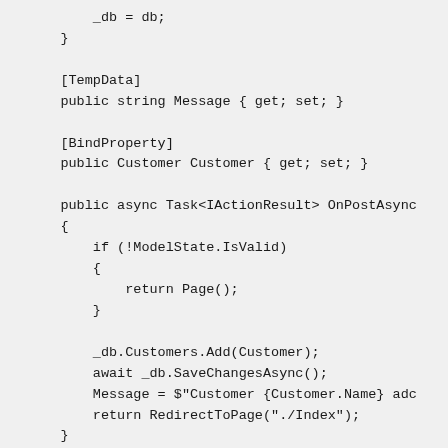_db = db;
}

[TempData]
public string Message { get; set; }

[BindProperty]
public Customer Customer { get; set; }

public async Task<IActionResult> OnPostAsync
{
    if (!ModelState.IsValid)
    {
        return Page();
    }

    _db.Customers.Add(Customer);
    await _db.SaveChangesAsync();
    Message = $"Customer {Customer.Name} add
    return RedirectToPage("./Index");
}
}